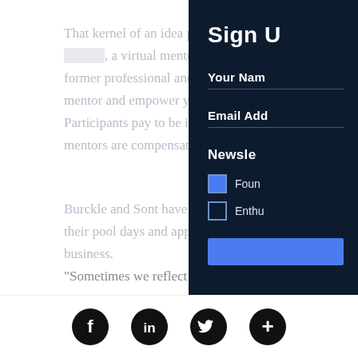That kernel of an idea popped into , a virtual mentoring program w former professional and Olympic athle mentor and empower youth athletes. Participants pay to be in the program a mentors are compensated for their tim
Burckle and Sont have taken some les their pool days and applied them to th business. "Sometimes we reflect and are like, 'O
Sign U
Your Nam
Email Add
Newsle
Foun
Enthu
[Figure (other): Newsletter signup form submit button (blue)]
Social media icons: Facebook, LinkedIn, Twitter, Plus/Add